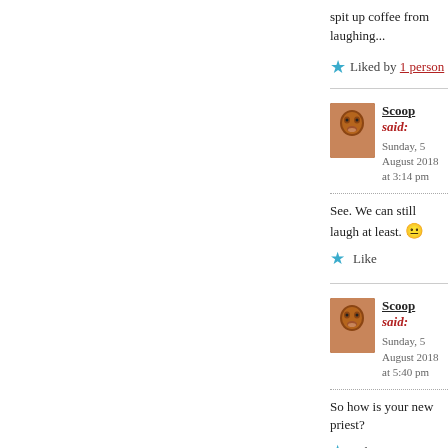spit up coffee from laughing...
Liked by 1 person
Scoop said:
Sunday, 5 August 2018 at 3:14 pm
See. We can still laugh at least. 🙂
Like
Scoop said:
Sunday, 5 August 2018 at 5:40 pm
So how is your new priest?
Like